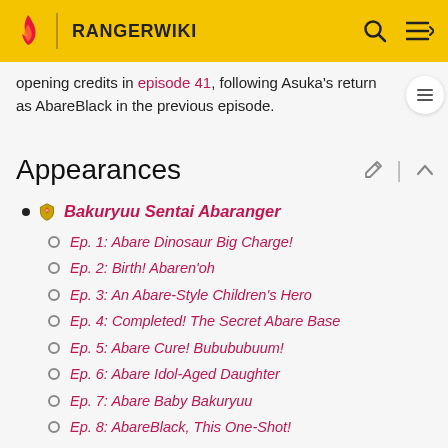RANGERWIKI
opening credits in episode 41, following Asuka's return as AbareBlack in the previous episode.
Appearances
Bakuryuu Sentai Abaranger
Ep. 1: Abare Dinosaur Big Charge!
Ep. 2: Birth! Abaren'oh
Ep. 3: An Abare-Style Children's Hero
Ep. 4: Completed! The Secret Abare Base
Ep. 5: Abare Cure! Bubububuum!
Ep. 6: Abare Idol-Aged Daughter
Ep. 7: Abare Baby Bakuryuu
Ep. 8: AbareBlack, This One-Shot!